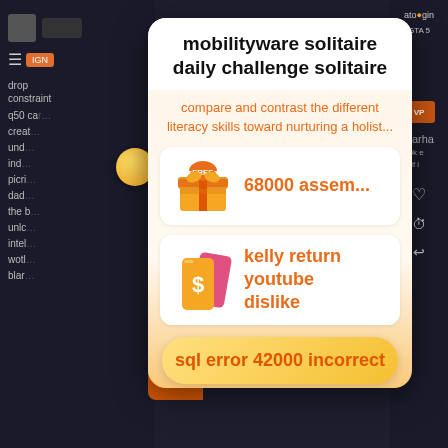mobilityware solitaire daily challenge solitaire
compare and contrast the different literacy skills toward nurturing a holist...
68000 assem...
kelly return youtube dislike
sql error 42000 incorrect